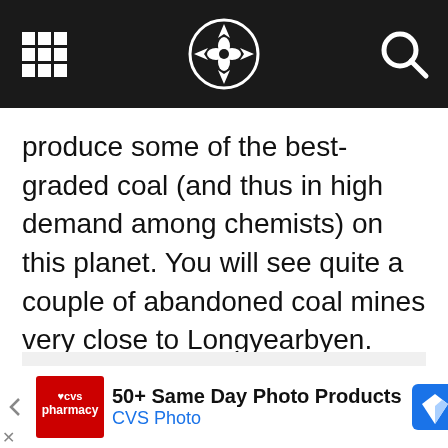[Navigation bar with grid icon, compass/snowflake logo, and search icon]
produce some of the best-graded coal (and thus in high demand among chemists) on this planet. You will see quite a couple of abandoned coal mines very close to Longyearbyen.
[Figure (photo): Light gray image placeholder area below the text content, with three dot indicators below it]
50+ Same Day Photo Products CVS Photo [advertisement bar]